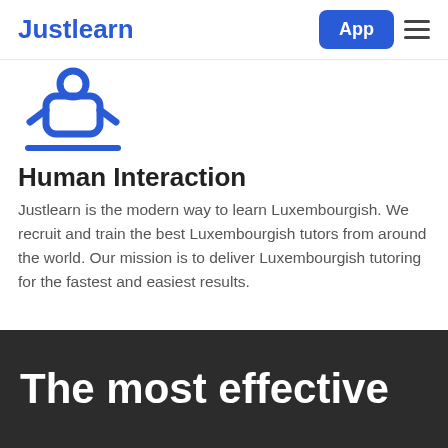Justlearn  App  ☰
[Figure (illustration): Blue icon of a person/tutor with a graduation-style hat and underline bar in blue]
Human Interaction
Justlearn is the modern way to learn Luxembourgish. We recruit and train the best Luxembourgish tutors from around the world. Our mission is to deliver Luxembourgish tutoring for the fastest and easiest results.
The most effective